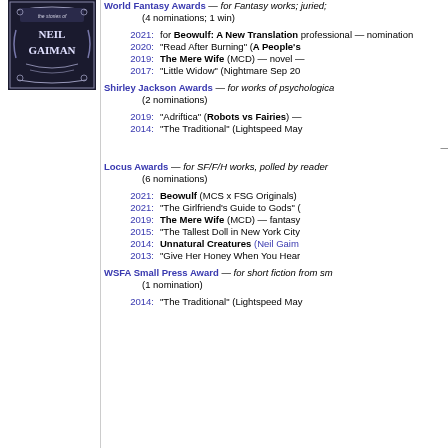[Figure (illustration): Book cover for a work by Neil Gaiman with ornate dark styling]
World Fantasy Awards — for Fantasy works; juried, (4 nominations; 1 win)
2021: for Beowulf: A New Translation professional — nomination
2020: "Read After Burning" (A People's
2019: The Mere Wife (MCD) — novel —
2017: "Little Widow" (Nightmare Sep 20
Shirley Jackson Awards — for works of psychological (2 nominations)
2019: "Adriftica" (Robots vs Fairies) —
2014: "The Traditional" (Lightspeed May
—
Locus Awards — for SF/F/H works, polled by reader (6 nominations)
2021: Beowulf (MCS x FSG Originals)
2021: "The Girlfriend's Guide to Gods" (
2019: The Mere Wife (MCD) — fantasy
2015: "The Tallest Doll in New York City
2014: Unnatural Creatures (Neil Gaim
2013: "Give Her Honey When You Hear
WSFA Small Press Award — for short fiction from sm (1 nomination)
2014: "The Traditional" (Lightspeed May